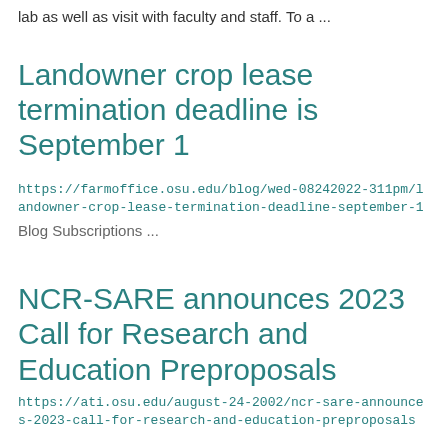lab as well as visit with faculty and staff. To a ...
Landowner crop lease termination deadline is September 1
https://farmoffice.osu.edu/blog/wed-08242022-311pm/landowner-crop-lease-termination-deadline-september-1
Blog Subscriptions ...
NCR-SARE announces 2023 Call for Research and Education Preproposals
https://ati.osu.edu/august-24-2002/ncr-sare-announces-2023-call-for-research-and-education-preproposals